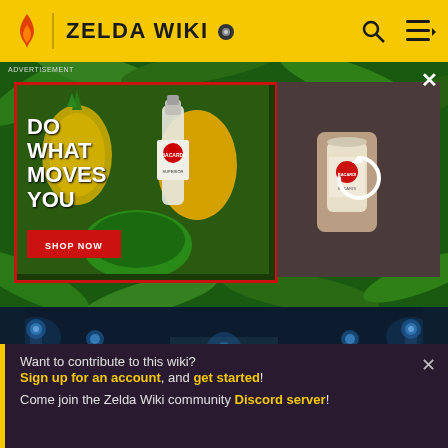ZELDA WIKI
[Figure (screenshot): Bacardi advertisement with tropical fruits (pineapple, papaya, watermelon), Bacardi rum bottle, text 'DO WHAT MOVES YOU', red 'SHOP NOW' button. Right side shows a hand holding Bacardi can with loading/refresh icon. Green tropical leaf background.]
[Figure (screenshot): Zelda game screenshot showing a dark blue dungeon/temple interior with stone stairs, glowing blue torches on the sides, a character visible in the distance, and a figure with a golden hat at the bottom center.]
Want to contribute to this wiki? Sign up for an account, and get started! Come join the Zelda Wiki community Discord server!